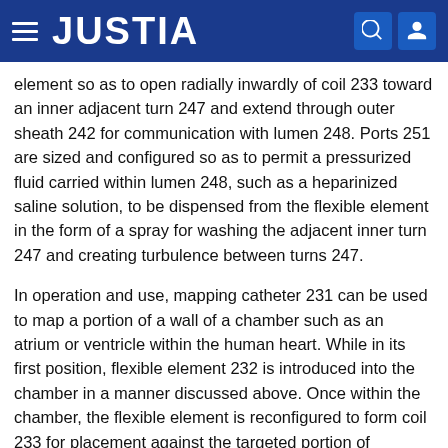JUSTIA
element so as to open radially inwardly of coil 233 toward an inner adjacent turn 247 and extend through outer sheath 242 for communication with lumen 248. Ports 251 are sized and configured so as to permit a pressurized fluid carried within lumen 248, such as a heparinized saline solution, to be dispensed from the flexible element in the form of a spray for washing the adjacent inner turn 247 and creating turbulence between turns 247.
In operation and use, mapping catheter 231 can be used to map a portion of a wall of a chamber such as an atrium or ventricle within the human heart. While in its first position, flexible element 232 is introduced into the chamber in a manner discussed above. Once within the chamber, the flexible element is reconfigured to form coil 233 for placement against the targeted portion of